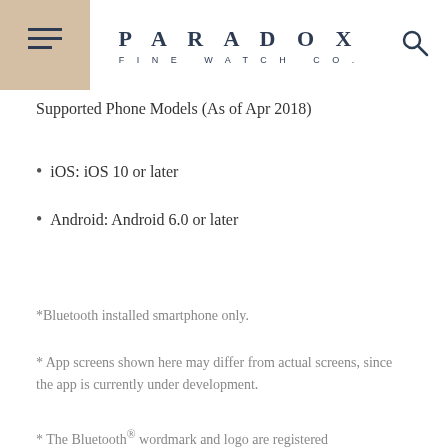PARADOX FINE WATCH CO.
Supported Phone Models (As of Apr 2018)
iOS: iOS 10 or later
Android: Android 6.0 or later
*Bluetooth installed smartphone only.
* App screens shown here may differ from actual screens, since the app is currently under development.
* The Bluetooth® wordmark and logo are registered